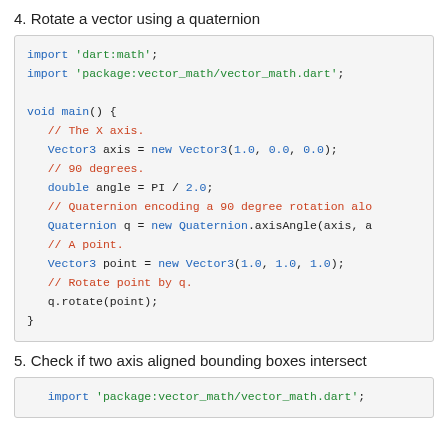4. Rotate a vector using a quaternion
[Figure (screenshot): Code block showing Dart code to rotate a vector using a quaternion. Imports dart:math and package:vector_math/vector_math.dart, defines void main() with Vector3 axis, double angle, Quaternion q, Vector3 point, and q.rotate(point).]
5. Check if two axis aligned bounding boxes intersect
[Figure (screenshot): Code block showing Dart import of package:vector_math/vector_math.dart]